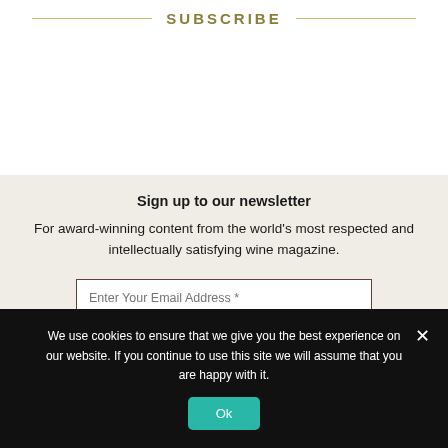SUBSCRIBE
Sign up to our newsletter
For award-winning content from the world's most respected and intellectually satisfying wine magazine.
Enter Your Email Address *
First Name *
We use cookies to ensure that we give you the best experience on our website. If you continue to use this site we will assume that you are happy with it.